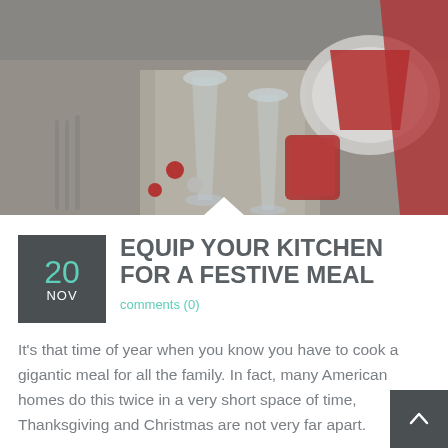[Figure (photo): A festive Christmas table setting photographed from above at an angle, featuring wine glasses, red candle holders, decorative silver tinsel runner, red ribbon, an angel figurine, red and silver ornament balls, plates with red folded napkins, and holiday greenery with flowers. The overall color palette is silver, red, and white.]
EQUIP YOUR KITCHEN FOR A FESTIVE MEAL
comments (0)
It's that time of year when you know you have to cook a gigantic meal for all the family. In fact, many American homes do this twice in a very short space of time, Thanksgiving and Christmas are not very far apart.